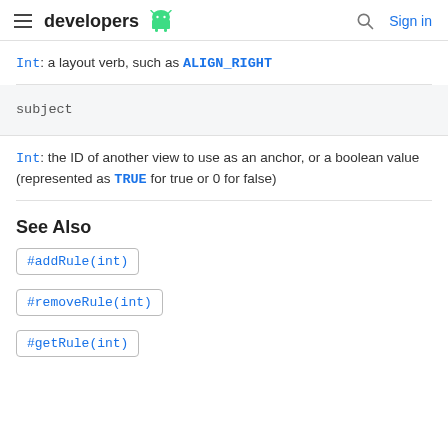developers [android logo] | [search] Sign in
Int: a layout verb, such as ALIGN_RIGHT
subject
Int: the ID of another view to use as an anchor, or a boolean value (represented as TRUE for true or 0 for false)
See Also
#addRule(int)
#removeRule(int)
#getRule(int)